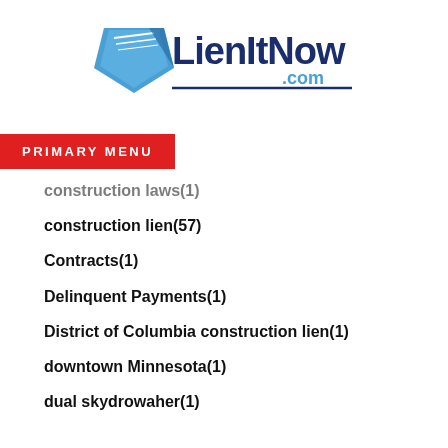[Figure (logo): LienItNow.com logo with blue compass/ruler graphic and bold blue text]
PRIMARY MENU
construction laws(1)
construction lien(57)
Contracts(1)
Delinquent Payments(1)
District of Columbia construction lien(1)
downtown Minnesota(1)
dual skydrowaher(1)